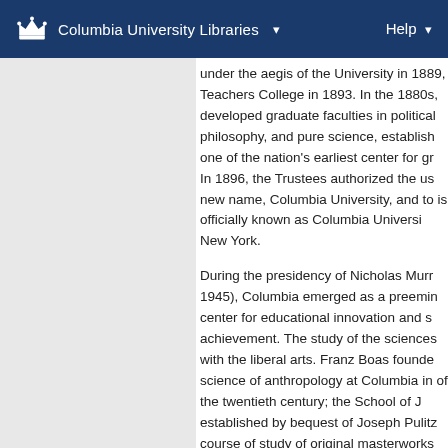Columbia University Libraries  ▾    Help ▾
under the aegis of the University in 1889, Teachers College in 1893. In the 1880s, developed graduate faculties in political philosophy, and pure science, establishing one of the nation's earliest center for graduate study. In 1896, the Trustees authorized the use of new name, Columbia University, and today it is officially known as Columbia University in the City of New York.
During the presidency of Nicholas Murray Butler (1902–1945), Columbia emerged as a preeminent center for educational innovation and scholarly achievement. The study of the sciences was combined with the liberal arts. Franz Boas founded the modern science of anthropology at Columbia in the early years of the twentieth century; the School of Journalism was established by bequest of Joseph Pulitzer; a course of study of original masterworks for undergraduates was created which ultimately